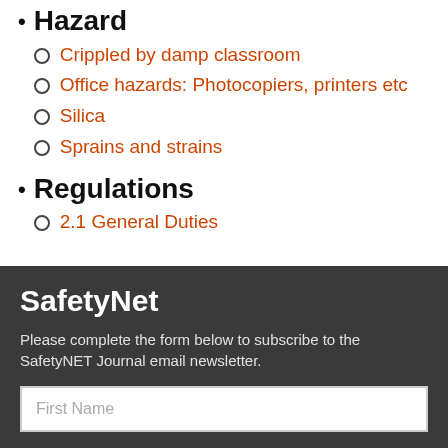Hazard
Crippled by damp classroom
Office hazards: Photocopiers, printers etc
Silica
Sprains and strains
Regulations
2.1 General Duties
SafetyNet
Please complete the form below to subscribe to the SafetyNET Journal email newsletter.
First Name